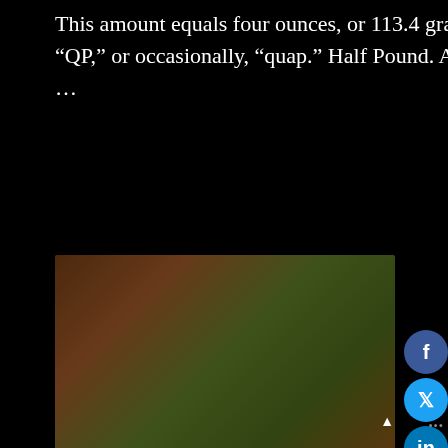This amount equals four ounces, or 113.4 grams. Also referred to as a “QP,” or occasionally, “quap.” Half Pound. Also called a “half-pack …
[Figure (photo): A glass jar filled with marijuana buds sitting on a wooden surface, with a rolled joint lying next to it and loose cannabis scattered around.]
Weed Measurements Guide: Marijuana Quantities, Weights & Prices